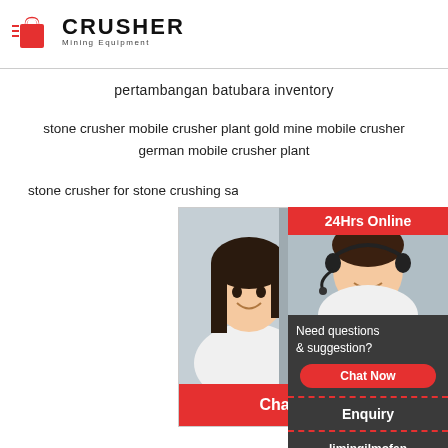[Figure (logo): Crusher Mining Equipment logo with red shopping bag icon and bold CRUSHER text]
pertambangan batubara inventory
stone crusher mobile crusher plant gold mine mobile crusher german mobile crusher plant
stone crusher for stone crushing sa...
[Figure (screenshot): Live chat popup with workers in hard hats, LIVE CHAT heading, 'Click for a Free Consultation', Chat now and Chat later buttons, customer service agent with headset on right]
[Figure (infographic): Right sidebar with 24Hrs Online, Need questions & suggestion? Chat Now button, Enquiry section, limingjlmofen@sina.com contact]